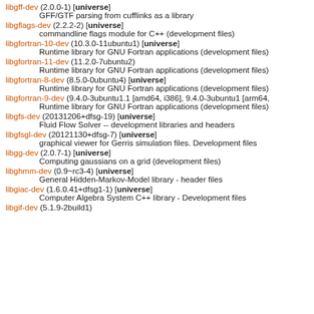libgff-dev (2.0.0-1) [universe]
    GFF/GTF parsing from cufflinks as a library
libgflags-dev (2.2.2-2) [universe]
    commandline flags module for C++ (development files)
libgfortran-10-dev (10.3.0-11ubuntu1) [universe]
    Runtime library for GNU Fortran applications (development files)
libgfortran-11-dev (11.2.0-7ubuntu2)
    Runtime library for GNU Fortran applications (development files)
libgfortran-8-dev (8.5.0-0ubuntu4) [universe]
    Runtime library for GNU Fortran applications (development files)
libgfortran-9-dev (9.4.0-3ubuntu1.1 [amd64, i386], 9.4.0-3ubuntu1 [arm64,
    Runtime library for GNU Fortran applications (development files)
libgfs-dev (20131206+dfsg-19) [universe]
    Fluid Flow Solver -- development libraries and headers
libgfsgl-dev (20121130+dfsg-7) [universe]
    graphical viewer for Gerris simulation files. Development files
libgg-dev (2.0.7-1) [universe]
    Computing gaussians on a grid (development files)
libghmm-dev (0.9~rc3-4) [universe]
    General Hidden-Markov-Model library - header files
libgiac-dev (1.6.0.41+dfsg1-1) [universe]
    Computer Algebra System C++ library - Development files
libgif-dev (5.1.9-2build1)